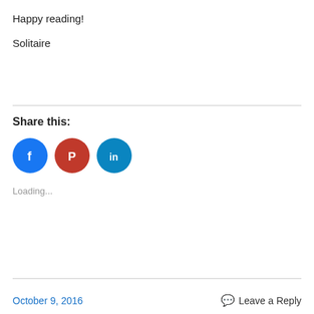Happy reading!
Solitaire
Share this:
[Figure (other): Three circular social media share buttons: Facebook (blue), Pinterest (red), LinkedIn (dark blue)]
Loading...
October 9, 2016    Leave a Reply